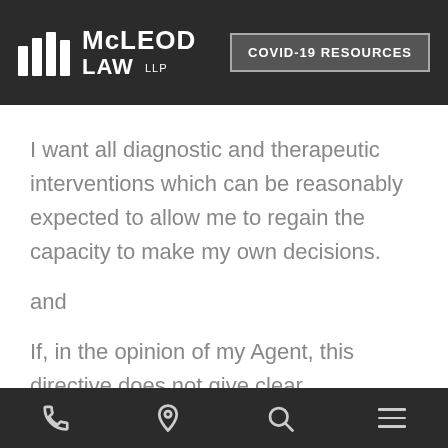McLEOD LAW LLP | COVID-19 RESOURCES
I want all diagnostic and therapeutic interventions which can be reasonably expected to allow me to regain the capacity to make my own decisions.
and
If, in the opinion of my Agent, this directive does not give clear instructions that are